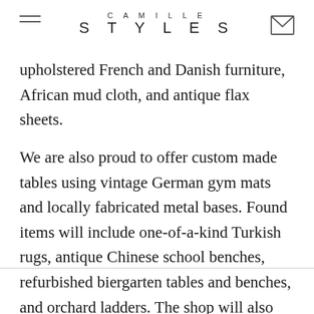CAMILLE STYLES
upholstered French and Danish furniture, African mud cloth, and antique flax sheets.
We are also proud to offer custom made tables using vintage German gym mats and locally fabricated metal bases. Found items will include one-of-a-kind Turkish rugs, antique Chinese school benches, refurbished biergarten tables and benches, and orchard ladders. The shop will also include a carefully curated selection of new items such as macrame curtains, teak tables, woven pendant lighting, and blankets.